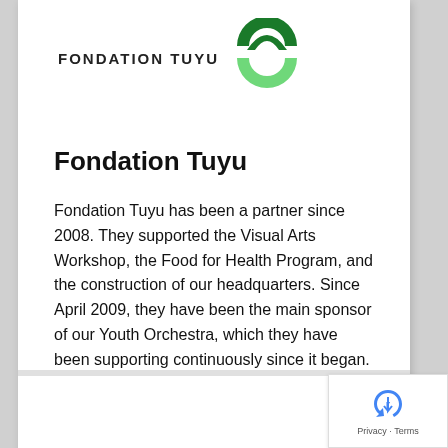[Figure (logo): Fondation Tuyu logo with text and green arc/circle graphic]
Fondation Tuyu
Fondation Tuyu has been a partner since 2008. They supported the Visual Arts Workshop, the Food for Health Program, and the construction of our headquarters. Since April 2009, they have been the main sponsor of our Youth Orchestra, which they have been supporting continuously since it began.
Privacy · Terms